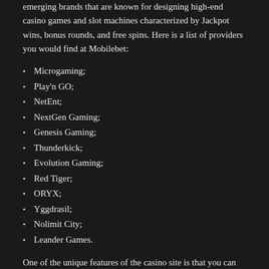emerging brands that are known for designing high-end casino games and slot machines characterized by Jackpot wins, bonus rounds, and free spins. Here is a list of providers you would find at Mobilebet:
Microgaming;
Play'n GO;
NetEnt;
NextGen Gaming;
Genesis Gaming;
Thunderkick;
Evolution Gaming;
Red Tiger;
ORYX;
Yggdrasil;
Nolimit City;
Leander Games.
One of the unique features of the casino site is that you can find the provider mentioned right below each gaming icon listed on the site.